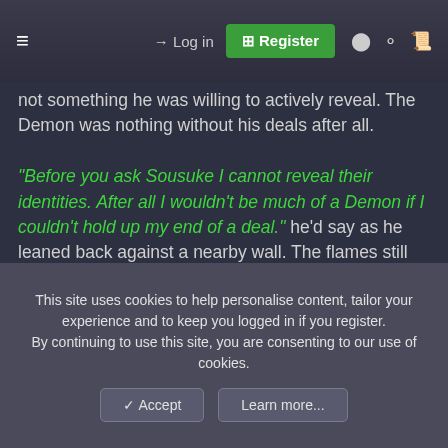≡  →  Log in  [+] Register  ● ♀ ▣
not something he was willing to actively reveal. The Demon was nothing without his deals after all.

"Before you ask Sousuke I cannot reveal their identities. After all I wouldn't be much of a Demon if I couldn't hold up my end of a deal." he'd say as he leaned back against a nearby wall. The flames still protectively dancing over his body keeping his immodest form from view. "I can promise you this. I am doing my best to ensure that those I know of are both safe & able to sustain themselves. Although the task is difficult when it comes to matters of discreetly transporting the souls. Before you say anything I would remind you that not all beings have a choice in regard to this existence. Some
This site uses cookies to help personalise content, tailor your experience and to keep you logged in if you register.
By continuing to use this site, you are consenting to our use of cookies.
✓ Accept   Learn more...